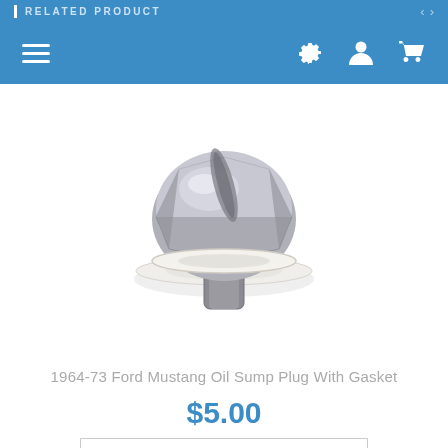RELATED PRODUCT
[Figure (photo): A chrome oil sump drain plug with a white nylon gasket/washer, photographed on a white background. The bolt has a hexagonal head with a slotted top.]
1964-73 Ford Mustang Oil Sump Plug With Gasket
$5.00
ADD TO CART